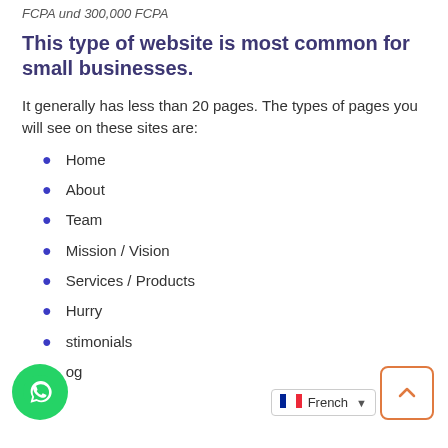FCPA und 300,000 FCPA
This type of website is most common for small businesses.
It generally has less than 20 pages. The types of pages you will see on these sites are:
Home
About
Team
Mission / Vision
Services / Products
Hurry
stimonials
og